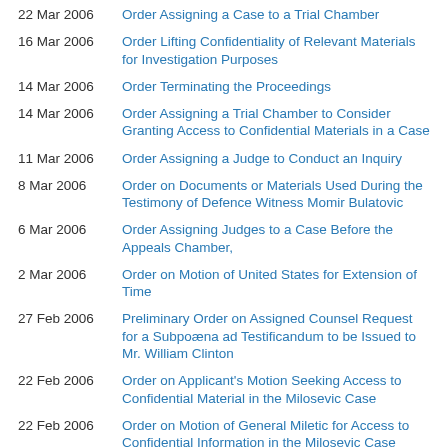22 Mar 2006  Order Assigning a Case to a Trial Chamber
16 Mar 2006  Order Lifting Confidentiality of Relevant Materials for Investigation Purposes
14 Mar 2006  Order Terminating the Proceedings
14 Mar 2006  Order Assigning a Trial Chamber to Consider Granting Access to Confidential Materials in a Case
11 Mar 2006  Order Assigning a Judge to Conduct an Inquiry
8 Mar 2006  Order on Documents or Materials Used During the Testimony of Defence Witness Momir Bulatovic
6 Mar 2006  Order Assigning Judges to a Case Before the Appeals Chamber,
2 Mar 2006  Order on Motion of United States for Extension of Time
27 Feb 2006  Preliminary Order on Assigned Counsel Request for a Subpoena ad Testificandum to be Issued to Mr. William Clinton
22 Feb 2006  Order on Applicant's Motion Seeking Access to Confidential Material in the Milosevic Case
22 Feb 2006  Order on Motion of General Miletic for Access to Confidential Information in the Milosevic Case